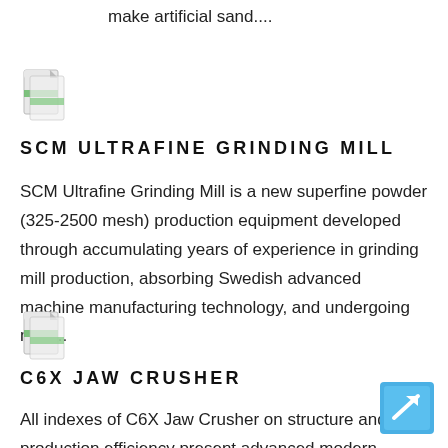make artificial sand....
[Figure (logo): Document/file icon with green and white design]
SCM ULTRAFINE GRINDING MILL
SCM Ultrafine Grinding Mill is a new superfine powder (325-2500 mesh) production equipment developed through accumulating years of experience in grinding mill production, absorbing Swedish advanced machine manufacturing technology, and undergoing man...
[Figure (logo): Document/file icon with green and white design]
C6X JAW CRUSHER
All indexes of C6X Jaw Crusher on structure and production efficiency present advanced modern technologies. SBM's C6X Jaw Crusher can solve such problems of the existing jaw crushers as low
[Figure (other): Blue arrow button/icon pointing up-right]